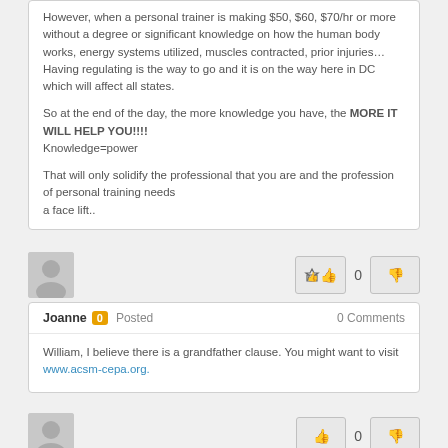However, when a personal trainer is making $50, $60, $70/hr or more without a degree or significant knowledge on how the human body works, energy systems utilized, muscles contracted, prior injuries… Having regulating is the way to go and it is on the way here in DC which will affect all states.

So at the end of the day, the more knowledge you have, the MORE IT WILL HELP YOU!!!!
Knowledge=power

That will only solidify the professional that you are and the profession of personal training needs
a face lift..
[Figure (illustration): Gray avatar/profile icon placeholder]
Joanne 0 Posted   0 Comments
William, I believe there is a grandfather clause. You might want to visit www.acsm-cepa.org.
[Figure (illustration): Gray avatar/profile icon placeholder, second comment]